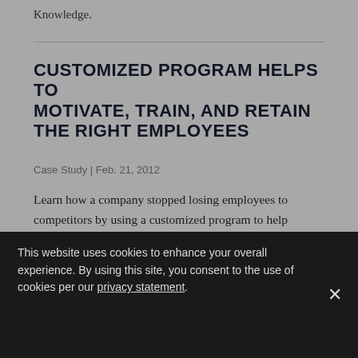Knowledge.
CUSTOMIZED PROGRAM HELPS TO MOTIVATE, TRAIN, AND RETAIN THE RIGHT EMPLOYEES
Case Study | Feb. 21, 2012
Learn how a company stopped losing employees to competitors by using a customized program to help motivate, train, and retain the right employees.
CUSTOMIZED DOD DIRECTIVE: HELPS LIANCY WORLDWIDE
This website uses cookies to enhance your overall experience. By using this site, you consent to the use of cookies per our privacy statement.